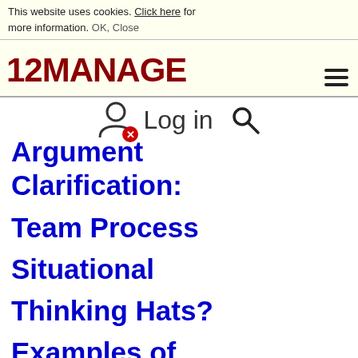This website uses cookies. Click here for more information. OK, Close
[Figure (logo): 12MANAGE logo in dark red bold text with hamburger menu icon]
Log in
Argument Clarification:
Team Process
Situational
Thinking Hats?
Examples of
Using Six Hats